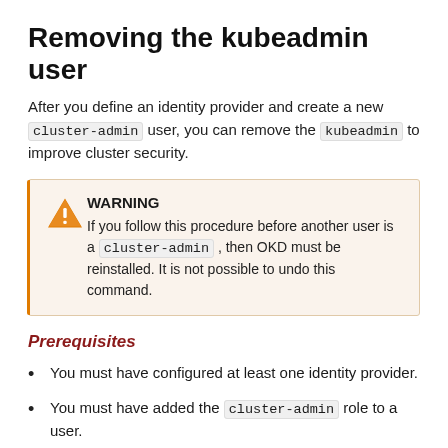Removing the kubeadmin user
After you define an identity provider and create a new cluster-admin user, you can remove the kubeadmin to improve cluster security.
WARNING
If you follow this procedure before another user is a cluster-admin , then OKD must be reinstalled. It is not possible to undo this command.
Prerequisites
You must have configured at least one identity provider.
You must have added the cluster-admin role to a user.